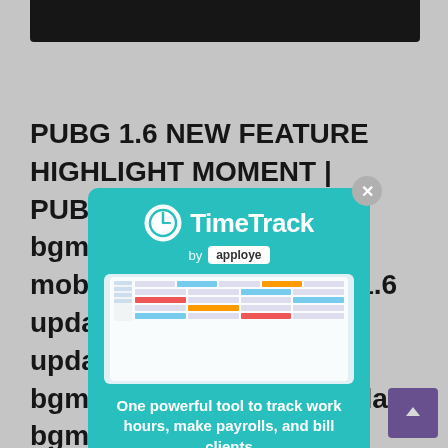[Figure (screenshot): Top dark video/image strip at top of webpage]
PUBG 1.6 NEW FEATURE HIGHLIGHT MOMENT | PUBG 1.6 UPDATE HERE bgmi 1.6 update, pubg mobile 1.6 update, pubg 1.6 update, update 1.6, 1.6 update, pubg 1.6 update, bgmi new update, 1.6 update bgmi, pubg mobile new update, 1.6.0 update, how to update 1.6, bgmi 1.6 update release date, 1.6 update gameplay, how to update 1.6 pubg, bgmi new update 1.6, pubg new update, 1.6 update leaks, pubg 1.6 update beta version, bgmi version 1.6 update. New
[Figure (screenshot): TimeTrack by apploye advertisement modal popup. Shows TimeTrack logo with clock icon, 'by apploye' badge, screenshot of a dashboard/timesheet interface, tagline 'One powerful tool to track work hours, make payrolls, and bill clients', and a 'GET FOR FREE' button. Teal/cyan background.]